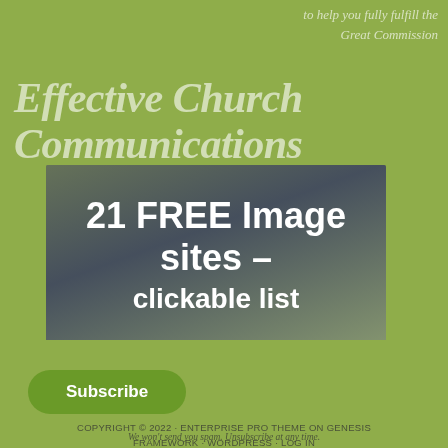to help you fully fulfill the Great Commission
Effective Church Communications
[Figure (infographic): Banner image showing '21 FREE Image sites – a clickable list' overlaid on a dark background with a church interior photo]
For notifications of FREE Templates, training tips, and resources to make you a more effective church communicator - SIGN UP!
Email Address
Subscribe
COPYRIGHT © 2022 · ENTERPRISE PRO THEME ON GENESIS FRAMEWORK · WORDPRESS · LOG IN
We won't send you spam. Unsubscribe at any time.